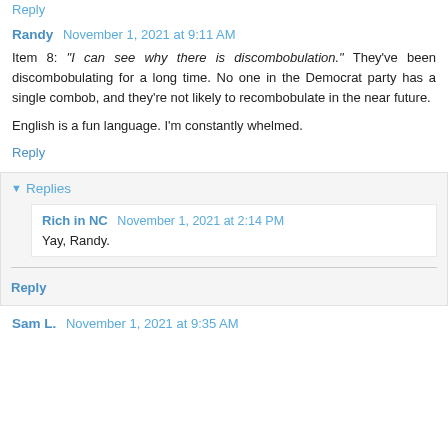Reply
Randy  November 1, 2021 at 9:11 AM
Item 8: “I can see why there is discombobulation.” They’ve been discombobulating for a long time. No one in the Democrat party has a single combob, and they’re not likely to recombobulate in the near future.

English is a fun language. I’m constantly whelmed.
Reply
Replies
Rich in NC  November 1, 2021 at 2:14 PM
Yay, Randy.
Reply
Sam L.  November 1, 2021 at 9:35 AM